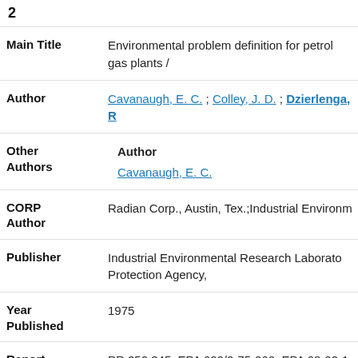2
| Field | Value |
| --- | --- |
| Main Title | Environmental problem definition for petrol gas plants / |
| Author | Cavanaugh, E. C. ; Colley, J. D. ; Dzierlenga, R... |
| Other Authors | Author
Cavanaugh, E. C. |
| CORP Author | Radian Corp., Austin, Tex.;Industrial Environ... |
| Publisher | Industrial Environmental Research Laborato... Protection Agency, |
| Year Published | 1975 |
| Report | PR 252 345; EPA 600/2-75-060; EPA 68-02-1... |